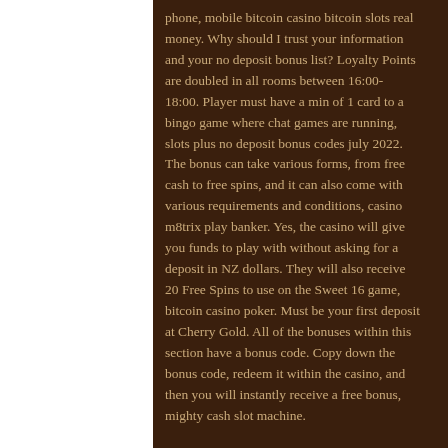phone, mobile bitcoin casino bitcoin slots real money. Why should I trust your information and your no deposit bonus list? Loyalty Points are doubled in all rooms between 16:00- 18:00. Player must have a min of 1 card to a bingo game where chat games are running, slots plus no deposit bonus codes july 2022. The bonus can take various forms, from free cash to free spins, and it can also come with various requirements and conditions, casino m8trix play banker. Yes, the casino will give you funds to play with without asking for a deposit in NZ dollars. They will also receive 20 Free Spins to use on the Sweet 16 game, bitcoin casino poker. Must be your first deposit at Cherry Gold. All of the bonuses within this section have a bonus code. Copy down the bonus code, redeem it within the casino, and then you will instantly receive a free bonus, mighty cash slot machine.